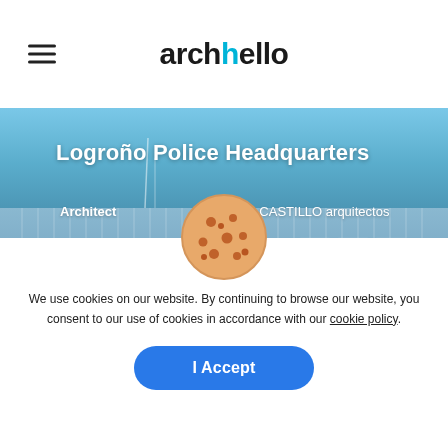archello
[Figure (photo): Exterior photo of Logroño Police Headquarters building — a modern multi-story structure with vertical white facade elements and gridded windows, against a blue sky]
Logroño Police Headquarters
Architect  MATOS-CASTILLO arquitectos
Location  Calle Serradero con Calle Sorzan...
Project Year  2011
Category  Police Stations
[Figure (illustration): Cookie icon — round brown cookie with chocolate chip spots]
We use cookies on our website. By continuing to browse our website, you consent to our use of cookies in accordance with our cookie policy.
I Accept